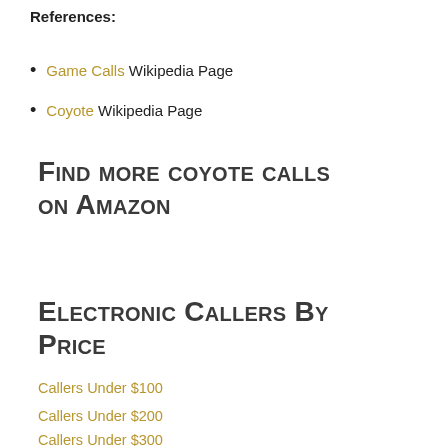References:
Game Calls Wikipedia Page
Coyote Wikipedia Page
Find more coyote calls on Amazon
Electronic Callers By Price
Callers Under $100
Callers Under $200
Callers Under $300